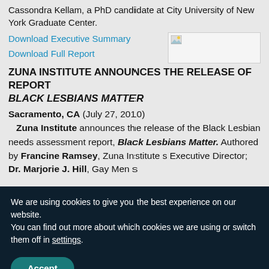Cassondra Kellam, a PhD candidate at City University of New York Graduate Center.
Download Executive Summary
Download Full Report
[Figure (photo): Small placeholder image with broken image icon]
ZUNA INSTITUTE ANNOUNCES THE RELEASE OF REPORT BLACK LESBIANS MATTER
Sacramento, CA (July 27, 2010)
   Zuna Institute announces the release of the Black Lesbian needs assessment report, Black Lesbians Matter. Authored by Francine Ramsey, Zuna Institute’s Executive Director; Dr. Marjorie J. Hill, Gay Men’s
We are using cookies to give you the best experience on our website.
You can find out more about which cookies we are using or switch them off in settings.
Accept